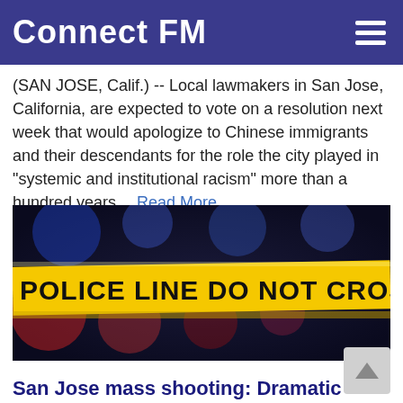Connect FM
(SAN JOSE, Calif.) -- Local lawmakers in San Jose, California, are expected to vote on a resolution next week that would apologize to Chinese immigrants and their descendants for the role the city played in "systemic and institutional racism" more than a hundred years... Read More.
[Figure (photo): Police line do not cross yellow tape with blurred police lights in background]
San Jose mass shooting: Dramatic bodycam footage shows officers responding to carnage
Wednesday, June 2 by ABC News
(SAN JOSE, Calif.) -- Newly released body camera video shows